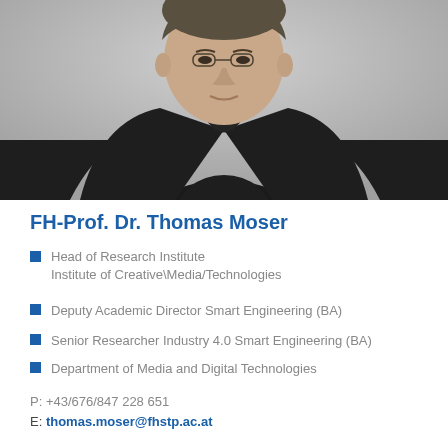[Figure (photo): Portrait photo of FH-Prof. Dr. Thomas Moser, a man in a dark blazer and dark shirt, photographed from chest up against a grey background.]
FH-Prof. Dr. Thomas Moser
Head of Research Institute
Institute of Creative\Media/Technologies
Deputy Academic Director Smart Engineering (BA)
Senior Researcher Industry 4.0 Smart Engineering (BA)
Department of Media and Digital Technologies
P: +43/676/847 228 651
E: thomas.moser@fhstp.ac.at